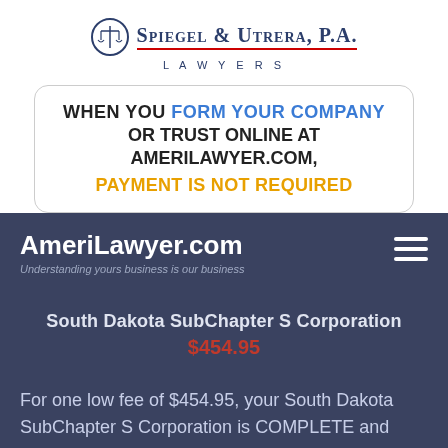[Figure (logo): Spiegel & Utrera, P.A. Lawyers logo with scales of justice icon, company name in dark blue serif font with red underline, and 'LAWYERS' in spaced capitals below]
WHEN YOU FORM YOUR COMPANY OR TRUST ONLINE AT AMERILAWYER.COM, PAYMENT IS NOT REQUIRED
[Figure (screenshot): AmeriLawyer.com website header on dark blue background showing site title, tagline 'Understanding yours business is our business', hamburger menu icon, product listing 'South Dakota SubChapter S Corporation' priced at $454.95, and descriptive text 'For one low fee of $454.95, your South Dakota SubChapter S Corporation is COMPLETE and']